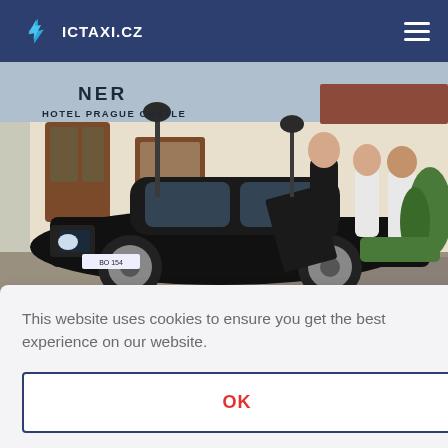ICTAXI.CZ
[Figure (photo): A black luxury sedan car parked in front of Hotel Prague Castle. A driver in a black suit opens the rear door for two guests — a woman in white blouse and grey trousers and a man in a white shirt. The hotel building is white with brown shuttered windows.]
This website uses cookies to ensure you get the best experience on our website.
OK
[Figure (photo): Partial bottom strip showing people and a building exterior, partially obscured by cookie banner.]